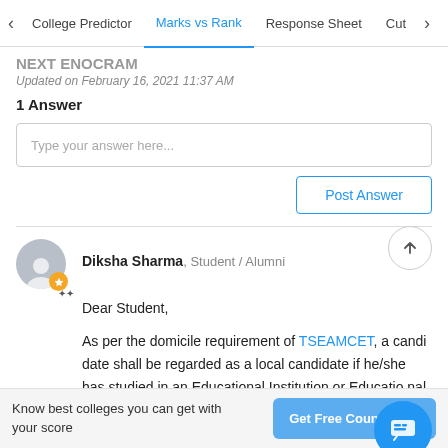College Predictor | Marks vs Rank | Response Sheet | Cut
NEXT ENOCRAM
Updated on February 16, 2021 11:37 AM
1 Answer
Type your answer here...
Post Answer
Diksha Sharma, Student / Alumni
Dear Student,
As per the domicile requirement of TSEAMCET, a candidate shall be regarded as a local candidate if he/she has studied in an Educational Institution or Educational Institutions in such local area for a period of not less than four consecutive academic years ending with the acade
Know best colleges you can get with your score
Get Free Counselling